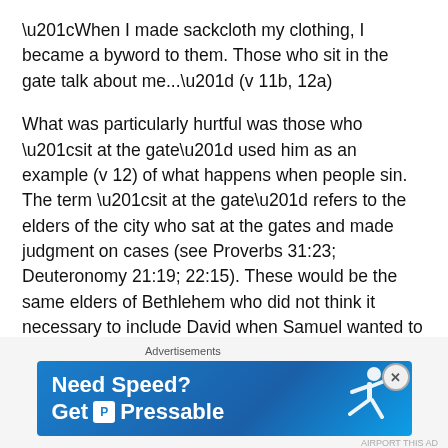“When I made sackcloth my clothing, I became a byword to them. Those who sit in the gate talk about me...” (v 11b, 12a)
What was particularly hurtful was those who “sit at the gate” used him as an example (v 12) of what happens when people sin. The term “sit at the gate” refers to the elders of the city who sat at the gates and made judgment on cases (see Proverbs 31:23; Deuteronomy 21:19; 22:15). These would be the same elders of Bethlehem who did not think it necessary to include David when Samuel wanted to
[Figure (other): Advertisement banner for Pressable hosting service reading 'Need Speed? Get Pressable' with a runner figure graphic on blue background.]